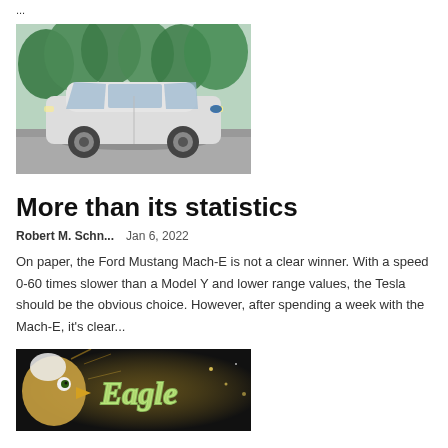...
[Figure (photo): White Ford Mustang Mach-E SUV parked outdoors with trees in background]
More than its statistics
Robert M. Schn...   Jan 6, 2022
On paper, the Ford Mustang Mach-E is not a clear winner. With a speed 0-60 times slower than a Model Y and lower range values, the Tesla should be the obvious choice. However, after spending a week with the Mach-E, it's clear...
[Figure (photo): Eagle with 'Eagle' text logo/graphic]